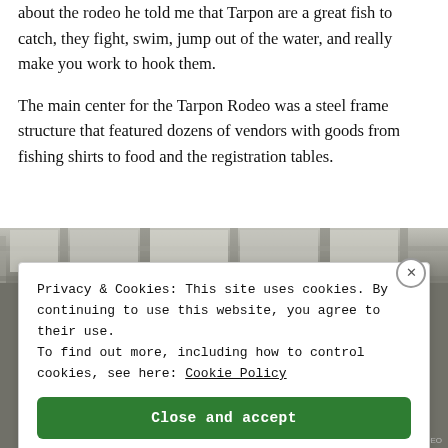about the rodeo he told me that Tarpon are a great fish to catch, they fight, swim, jump out of the water, and really make you work to hook them.
The main center for the Tarpon Rodeo was a steel frame structure that featured dozens of vendors with goods from fishing shirts to food and the registration tables.
[Figure (photo): Interior photo of a steel frame structure ceiling, partially obscured by a cookie consent banner overlay.]
Privacy & Cookies: This site uses cookies. By continuing to use this website, you agree to their use.
To find out more, including how to control cookies, see here: Cookie Policy
Close and accept